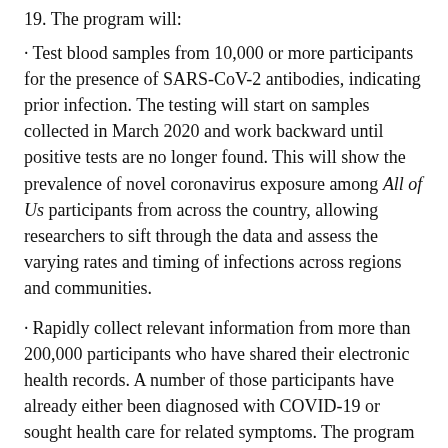19. The program will:
Test blood samples from 10,000 or more participants for the presence of SARS-CoV-2 antibodies, indicating prior infection. The testing will start on samples collected in March 2020 and work backward until positive tests are no longer found. This will show the prevalence of novel coronavirus exposure among All of Us participants from across the country, allowing researchers to sift through the data and assess the varying rates and timing of infections across regions and communities.
Rapidly collect relevant information from more than 200,000 participants who have shared their electronic health records. A number of those participants have already either been diagnosed with COVID-19 or sought health care for related symptoms. The program is working to standardize this information. It will help researchers look for patterns and learn more about COVID-19 symptoms and associated health problems, as well as the effects of different medicines and treatments.
Deploy a new online survey to understand better the